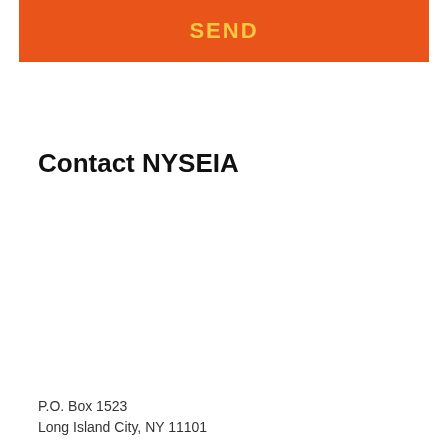SEND
Contact NYSEIA
P.O. Box 1523
Long Island City, NY 11101